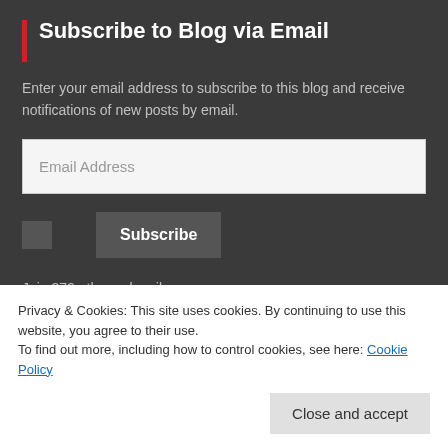Subscribe to Blog via Email
Enter your email address to subscribe to this blog and receive notifications of new posts by email.
Email Address
Subscribe
Join 379 other subscribers
Social Media
Privacy & Cookies: This site uses cookies. By continuing to use this website, you agree to their use.
To find out more, including how to control cookies, see here: Cookie Policy
Close and accept